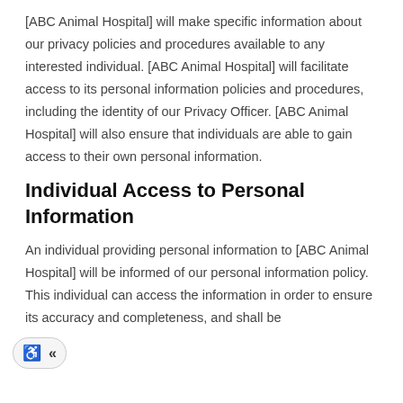[ABC Animal Hospital] will make specific information about our privacy policies and procedures available to any interested individual. [ABC Animal Hospital] will facilitate access to its personal information policies and procedures, including the identity of our Privacy Officer. [ABC Animal Hospital] will also ensure that individuals are able to gain access to their own personal information.
Individual Access to Personal Information
An individual providing personal information to [ABC Animal Hospital] will be informed of our personal information policy. This individual can access the information in order to ensure its accuracy and completeness, and shall be